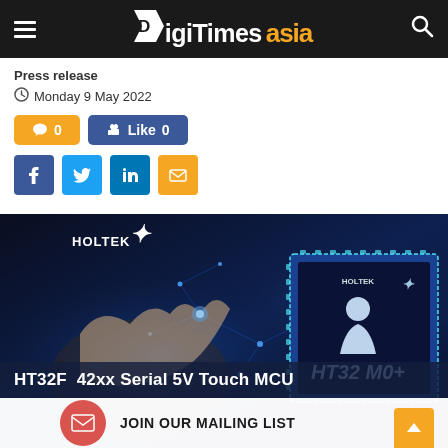DIGITIMES asia
Press release
Monday 9 May 2022
0 Like 0
Share buttons: Facebook, Twitter, LinkedIn, Email
[Figure (photo): Holtek HT32 M0+ chip promotional image showing a hand touching a glowing digital surface with circuit connections, alongside a dark blue microchip labeled HT32 M0+ with Holtek logo]
HT32F342xx Serial 5V Touch MCU
JOIN OUR MAILING LIST